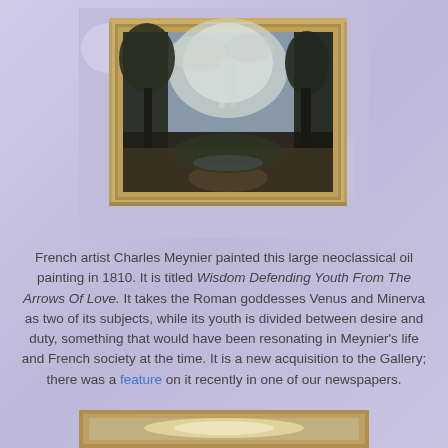[Figure (photo): A framed oil painting in a gold ornate frame, showing a landscape with tall dark trees, a path, and a bright sky with clouds, hung on a light gray wall.]
French artist Charles Meynier painted this large neoclassical oil painting in 1810. It is titled Wisdom Defending Youth From The Arrows Of Love. It takes the Roman goddesses Venus and Minerva as two of its subjects, while its youth is divided between desire and duty, something that would have been resonating in Meynier's life and French society at the time. It is a new acquisition to the Gallery; there was a feature on it recently in one of our newspapers.
[Figure (photo): Partial view of another framed painting, showing only the top portion with a gold frame visible at the bottom of the page.]